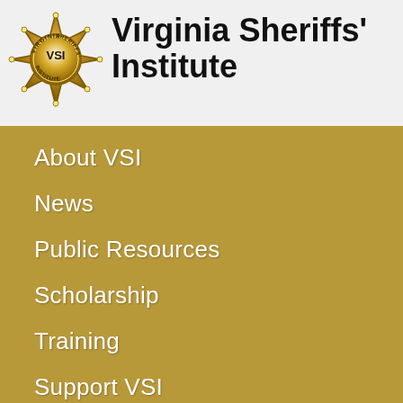[Figure (logo): Virginia Sheriffs' Institute gold star badge logo with 'VSI' text in the center]
Virginia Sheriffs' Institute
About VSI
News
Public Resources
Scholarship
Training
Support VSI
Franklin County